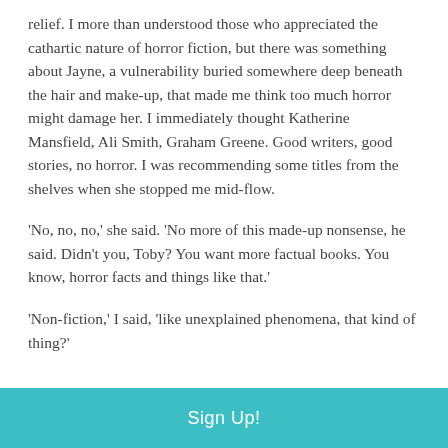relief. I more than understood those who appreciated the cathartic nature of horror fiction, but there was something about Jayne, a vulnerability buried somewhere deep beneath the hair and make-up, that made me think too much horror might damage her. I immediately thought Katherine Mansfield, Ali Smith, Graham Greene. Good writers, good stories, no horror. I was recommending some titles from the shelves when she stopped me mid-flow.
'No, no, no,' she said. 'No more of this made-up nonsense, he said. Didn't you, Toby? You want more factual books. You know, horror facts and things like that.'
'Non-fiction,' I said, 'like unexplained phenomena, that kind of thing?'
Sign Up!